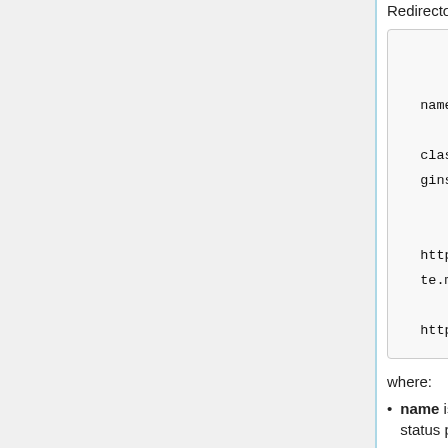Redirector is:
<Plugin
    name="Redirector"
    class="org.rsna.ctp.stdplugins.Redirector"
                httpPort="80"
    httpsHost="mirc.mysecuresite.myuniversity.edu"
    httpsPort="443" />
where:
name is any text to be used as a label on configuration and status pages.
httpPort is the port on which the Redirector listens for connections.
httpsHost is the host to which the